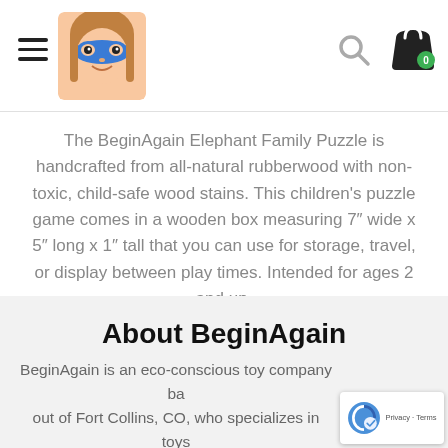BeginAgain website header with hamburger menu, logo, search icon, and cart icon
The BeginAgain Elephant Family Puzzle is handcrafted from all-natural rubberwood with non-toxic, child-safe wood stains. This children’s puzzle game comes in a wooden box measuring 7″ wide x 5″ long x 1″ tall that you can use for storage, travel, or display between play times. Intended for ages 2 and up.
About BeginAgain
BeginAgain is an eco-conscious toy company based out of Fort Collins, CO, who specializes in toys for children 6 months to 6 years old. We design and